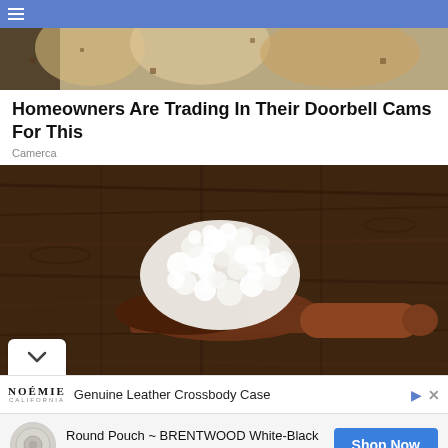☰
[Figure (photo): Partial top image showing bread/baked goods on wooden background]
Homeowners Are Trading In Their Doorbell Cams For This
Camerca
[Figure (photo): White cottage cheese or kefir grains on a wooden spoon against dark wooden background]
Genuine Leather Crossbody Case
Round Pouch ~ BRENTWOOD White-Black
$29.99
Shop Now